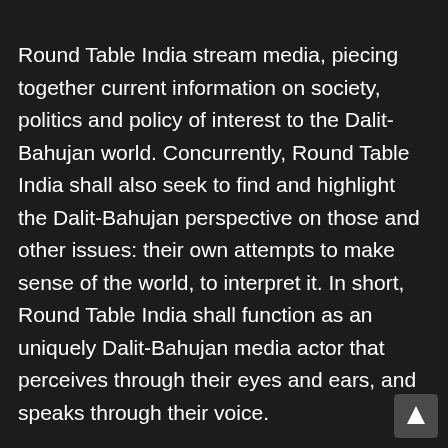Round Table India stream media, piecing together current information on society, politics and policy of interest to the Dalit-Bahujan world. Concurrently, Round Table India shall also seek to find and highlight the Dalit-Bahujan perspective on those and other issues: their own attempts to make sense of the world, to interpret it. In short, Round Table India shall function as an uniquely Dalit-Bahujan media actor that perceives through their eyes and ears, and speaks through their voice.
To its readers and users, Round Table India shall be a platform, a resource and a tool. As a platform, it offers an integrated online space the widest expression of Dalit-Bahujan voice